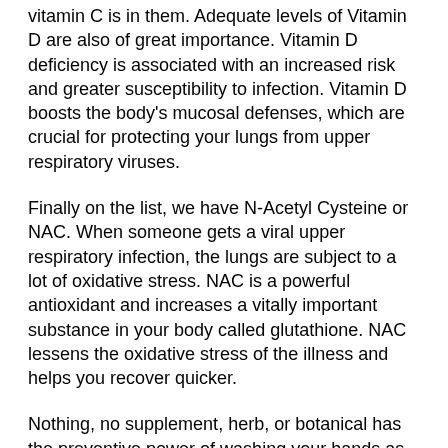vitamin C is in them. Adequate levels of Vitamin D are also of great importance. Vitamin D deficiency is associated with an increased risk and greater susceptibility to infection. Vitamin D boosts the body's mucosal defenses, which are crucial for protecting your lungs from upper respiratory viruses.
Finally on the list, we have N-Acetyl Cysteine or NAC. When someone gets a viral upper respiratory infection, the lungs are subject to a lot of oxidative stress. NAC is a powerful antioxidant and increases a vitally important substance in your body called glutathione. NAC lessens the oxidative stress of the illness and helps you recover quicker.
Nothing, no supplement, herb, or botanical has the preventive power of washing your hands as often as possible.
If you don't feel well, stay home and stay isolated. Slowing down for a few weeks may be more powerful for your overall health than anything else you can do.
About the Author: Dr. Wayne Wilkinson, Donotell